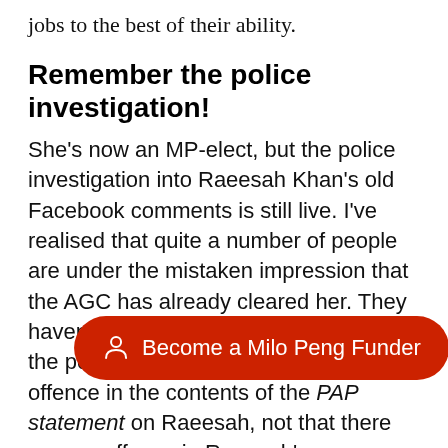jobs to the best of their ability.
Remember the police investigation!
She's now an MP-elect, but the police investigation into Raeesah Khan's old Facebook comments is still live. I've realised that quite a number of people are under the mistaken impression that the AGC has already cleared her. They haven't; the last press statement from the police said that the AGC found no offence in the contents of the PAP statement on Raeesah, not that there was no offence in Raeesah's comments. That investigation is ongoing.
[Figure (other): Red pill-shaped button overlay reading 'Become a Milo Peng Funder' with a person/user icon]
To be disqualifie... sentenced to prison for not less than a year, or a